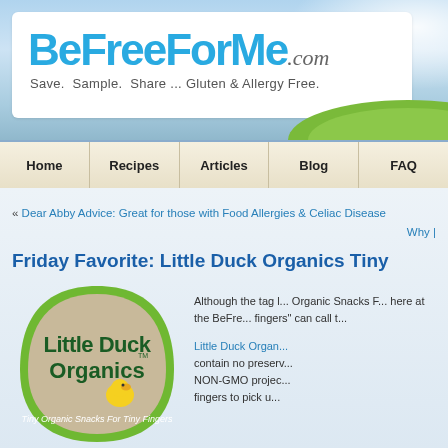[Figure (logo): BeFreeForMe.com website header banner with logo and tagline 'Save. Sample. Share ... Gluten & Allergy Free.' on a blue sky background with white cloud and green grass]
Home | Recipes | Articles | Blog | FAQ
« Dear Abby Advice: Great for those with Food Allergies & Celiac Disease
Why
Friday Favorite: Little Duck Organics Tiny
[Figure (photo): Little Duck Organics product package - green leaf-shaped logo with 'Little Duck Organics' text and yellow duck graphic, tagline 'Tiny Organic Snacks For Tiny Fingers']
Although the tag line Organic Snacks F... here at the BeFre... fingers" can call t...

Little Duck Organ... contain no preserv... NON-GMO projec... fingers to pick u...